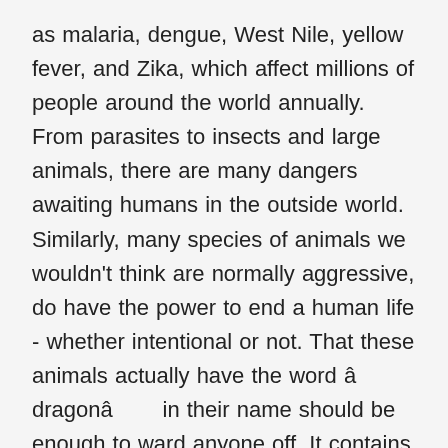as malaria, dengue, West Nile, yellow fever, and Zika, which affect millions of people around the world annually. From parasites to insects and large animals, there are many dangers awaiting humans in the outside world. Similarly, many species of animals we wouldn't think are normally aggressive, do have the power to end a human life - whether intentional or not. That these animals actually have the word âdragonâ in their name should be enough to ward anyone off. It contains poison substance in its teeth, and the name of that toxin is conotoxin. Certain animals are closely related to fear and danger, whether it's fair or not. Top 10 Best Business Finance Courses List | Most Popular Finance Management Studies, Top 10 Most Affordable Software Development Courses List | Best Computer Software Courses, Top 10 Trending